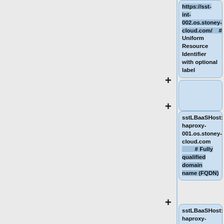[Figure (flowchart): A vertical flowchart/diagram showing YAML configuration nodes with code boxes containing URL and host configuration values. Three visible code boxes: 1) 'https://sst-int-002.os.stoney-cloud.com/ # Uniform Resource Identifier with optional label', 2) empty box, 3) 'sstLBaaSHost: haproxy-001.os.stoney-cloud.com # Fully qualified domain name (FQDN)', 4) partial box 'sstLBaaSHost: haproxy-002.os.stoney-cloud.com'. Each box is connected with a '+' connector symbol.]